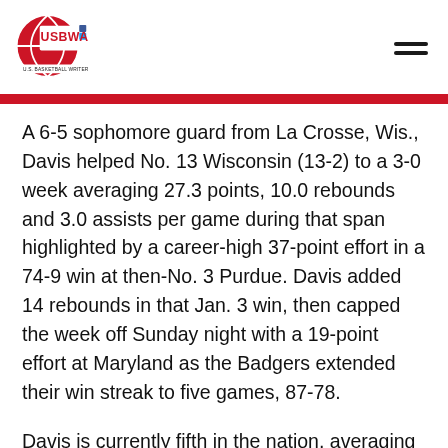[Figure (logo): USBWA U.S. Basketball Writers Association logo — red circular basketball logo with USBWA text]
A 6-5 sophomore guard from La Crosse, Wis., Davis helped No. 13 Wisconsin (13-2) to a 3-0 week averaging 27.3 points, 10.0 rebounds and 3.0 assists per game during that span highlighted by a career-high 37-point effort in a 74-9 win at then-No. 3 Purdue. Davis added 14 rebounds in that Jan. 3 win, then capped the week off Sunday night with a 19-point effort at Maryland as the Badgers extended their win streak to five games, 87-78.
Davis is currently fifth in the nation, averaging 22.3 points per game while also leading Wisconsin in rebounds (7.3 rpg), assists (2.7 apg) and steals (1.4 spg) and listing third on the team with 10...